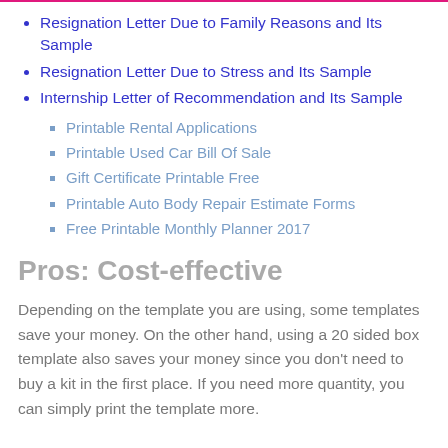Resignation Letter Due to Family Reasons and Its Sample
Resignation Letter Due to Stress and Its Sample
Internship Letter of Recommendation and Its Sample
Printable Rental Applications
Printable Used Car Bill Of Sale
Gift Certificate Printable Free
Printable Auto Body Repair Estimate Forms
Free Printable Monthly Planner 2017
Pros: Cost-effective
Depending on the template you are using, some templates save your money. On the other hand, using a 20 sided box template also saves your money since you don't need to buy a kit in the first place. If you need more quantity, you can simply print the template more.